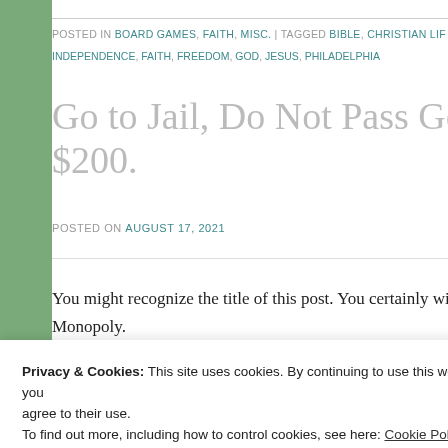POSTED IN BOARD GAMES, FAITH, MISC. | TAGGED BIBLE, CHRISTIAN LIFE, INDEPENDENCE, FAITH, FREEDOM, GOD, JESUS, PHILADELPHIA
Go to Jail, Do Not Pass Go, Do Not Collect $200.
POSTED ON AUGUST 17, 2021
You might recognize the title of this post. You certainly will if yo... Monopoly.
Privacy & Cookies: This site uses cookies. By continuing to use this website, you agree to their use. To find out more, including how to control cookies, see here: Cookie Policy
Close and accept